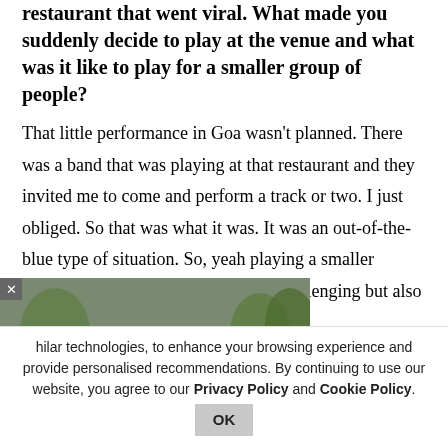restaurant that went viral. What made you suddenly decide to play at the venue and what was it like to play for a smaller group of people?
That little performance in Goa wasn't planned. There was a band that was playing at that restaurant and they invited me to come and perform a track or two. I just obliged. So that was what it was. It was an out-of-the-blue type of situation. So, yeah playing a smaller intimate show is always a bit more challenging but also [more rewarding] with our audience.
[Figure (photo): Photo of an accident warning sign (yellow triangle with exclamation mark labeled 'Accident') with traffic cones and blurred cars/emergency vehicles in the background. An overlay popup covering part of the article.]
[live shows over the years.]
hilar technologies, to enhance your browsing experience and provide personalised recommendations. By continuing to use our website, you agree to our Privacy Policy and Cookie Policy.